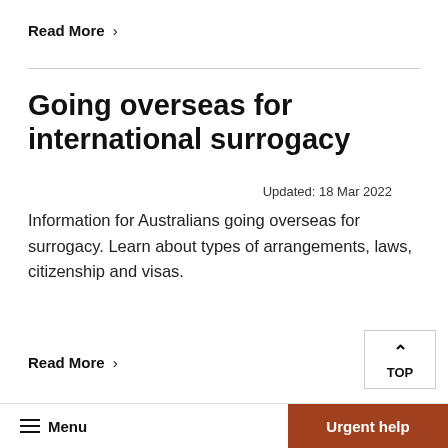Read More  >
Going overseas for international surrogacy  Updated: 18 Mar 2022
Information for Australians going overseas for surrogacy. Learn about types of arrangements, laws, citizenship and visas.
Read More  >
Terrorism – a  Updated: 31 Mar 2022
Menu  Urgent help